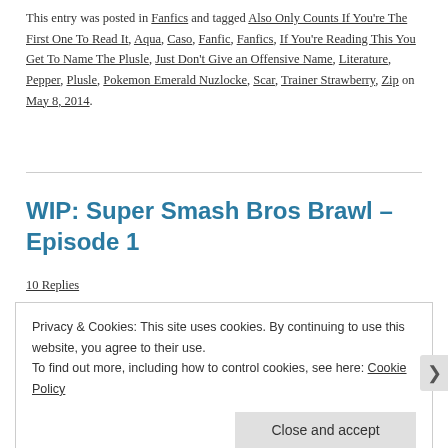This entry was posted in Fanfics and tagged Also Only Counts If You're The First One To Read It, Aqua, Caso, Fanfic, Fanfics, If You're Reading This You Get To Name The Plusle, Just Don't Give an Offensive Name, Literature, Pepper, Plusle, Pokemon Emerald Nuzlocke, Scar, Trainer Strawberry, Zip on May 8, 2014.
WIP: Super Smash Bros Brawl – Episode 1
10 Replies
Privacy & Cookies: This site uses cookies. By continuing to use this website, you agree to their use.
To find out more, including how to control cookies, see here: Cookie Policy